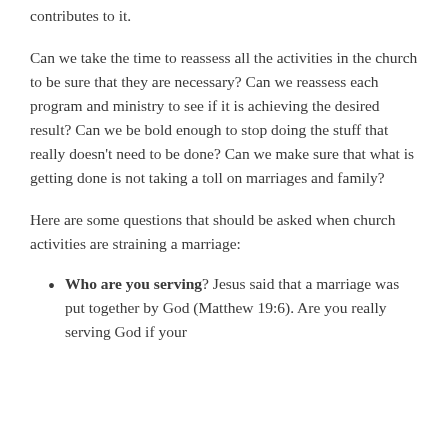contributes to it.
Can we take the time to reassess all the activities in the church to be sure that they are necessary? Can we reassess each program and ministry to see if it is achieving the desired result? Can we be bold enough to stop doing the stuff that really doesn’t need to be done? Can we make sure that what is getting done is not taking a toll on marriages and family?
Here are some questions that should be asked when church activities are straining a marriage:
Who are you serving? Jesus said that a marriage was put together by God (Matthew 19:6). Are you really serving God if your